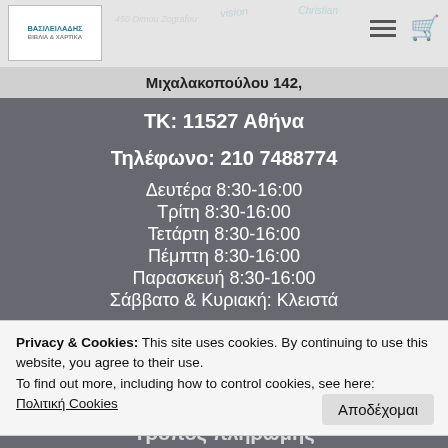Μιχαλακοπούλου 142,
ΤΚ: 11527 Αθήνα
Τηλέφωνο: 210 7488774
Δευτέρα 8:30-16:00
Τρίτη 8:30-16:00
Τετάρτη 8:30-16:00
Πέμπτη 8:30-16:00
Παρασκευή 8:30-16:00
Σάββατο & Κυριακή: Κλειστά
Privacy & Cookies: This site uses cookies. By continuing to use this website, you agree to their use.
To find out more, including how to control cookies, see here: Πολιτική Cookies
Αποδέχομαι
Τρόπος πληρωμής